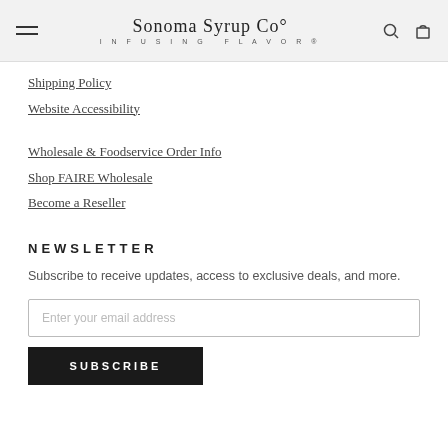Sonoma Syrup Co° INFUSING FLAVOR®
Shipping Policy
Website Accessibility
Wholesale & Foodservice Order Info
Shop FAIRE Wholesale
Become a Reseller
NEWSLETTER
Subscribe to receive updates, access to exclusive deals, and more.
Enter your email address
SUBSCRIBE